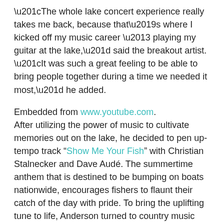“The whole lake concert experience really takes me back, because that’s where I kicked off my music career – playing my guitar at the lake,” said the breakout artist. “It was such a great feeling to be able to bring people together during a time we needed it most,” he added.
Embedded from www.youtube.com. After utilizing the power of music to cultivate memories out on the lake, he decided to pen up-tempo track “Show Me Your Fish” with Christian Stalnecker and Dave Audé. The summertime anthem that is destined to be bumping on boats nationwide, encourages fishers to flaunt their catch of the day with pride. To bring the uplifting tune to life, Anderson turned to country music video director Shaun Silva.